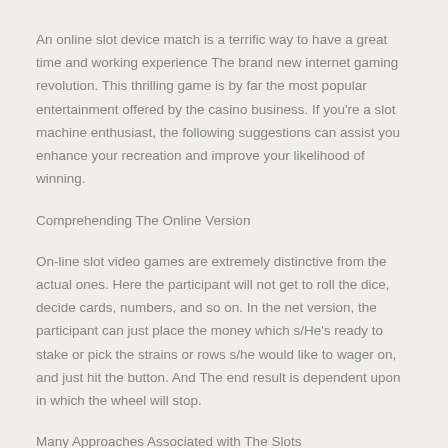An online slot device match is a terrific way to have a great time and working experience The brand new internet gaming revolution. This thrilling game is by far the most popular entertainment offered by the casino business. If you're a slot machine enthusiast, the following suggestions can assist you enhance your recreation and improve your likelihood of winning.
Comprehending The Online Version
On-line slot video games are extremely distinctive from the actual ones. Here the participant will not get to roll the dice, decide cards, numbers, and so on. In the net version, the participant can just place the money which s/He's ready to stake or pick the strains or rows s/he would like to wager on, and just hit the button. And The end result is dependent upon in which the wheel will stop.
Many Approaches Associated with The Slots
A participant must begin by investing the bottom stake. It is